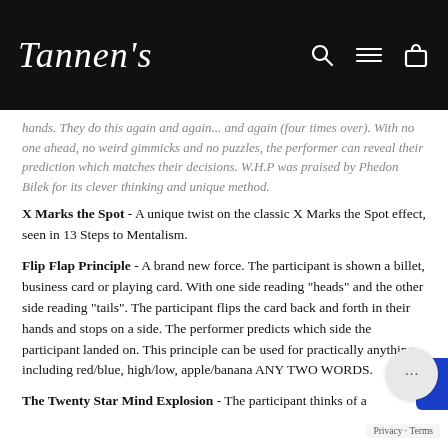Tannen's
hands. They do this again and again... and again (four times over). With no one ahead, no weird gimmicks and no puzzles, the performer can reveal their prediction which matches their decisions. W.H.P was praised by Phedon Bilek for its clever thinking and unique method.
X Marks the Spot - A unique twist on the classic X Marks the Spot effect, seen in 13 Steps to Mentalism.
Flip Flap Principle - A brand new force. The participant is shown a billet, business card or playing card. With one side reading "heads" and the other side reading "tails". The participant flips the card back and forth in their hands and stops on a side. The performer predicts which side the participant landed on. This principle can be used for practically anything, including red/blue, high/low, apple/banana ANY TWO WORDS.
The Twenty Star Mind Explosion - The participant thinks of a